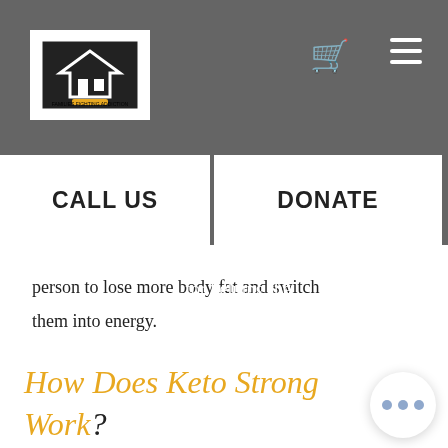[Figure (logo): Families Fighting Addiction logo — white square with geometric house/figure icon]
[Figure (other): Shopping cart icon in navigation bar]
[Figure (other): Hamburger menu icon (three horizontal lines) in navigation bar]
o extend the number of ketones in your body to possess faster ketosis. If an
[Figure (other): CALL US button — white rectangle with bold black text]
[Figure (other): DONATE button — white rectangle with bold black text]
a e of ketosis, these pills are for helping the
person to lose more body fat and switch them into energy.
How Does Keto Strong Work?
When you are on the keto diet, you deprive your body of food that must fuel your energy. From there, it releases ketones